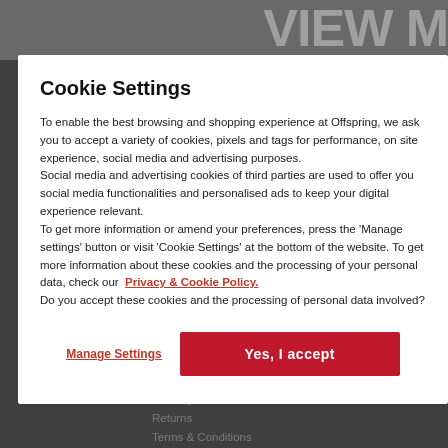Cookie Settings
To enable the best browsing and shopping experience at Offspring, we ask you to accept a variety of cookies, pixels and tags for performance, on site experience, social media and advertising purposes. Social media and advertising cookies of third parties are used to offer you social media functionalities and personalised ads to keep your digital experience relevant. To get more information or amend your preferences, press the 'Manage settings' button or visit 'Cookie Settings' at the bottom of the website. To get more information about these cookies and the processing of your personal data, check our Privacy & Cookie Policy. Do you accept these cookies and the processing of personal data involved?
Manage Settings
Yes, I accept
HOW CAN WE HELP
Contact us
Delivery
Returns
Terms & Conditions
USEFUL INFO